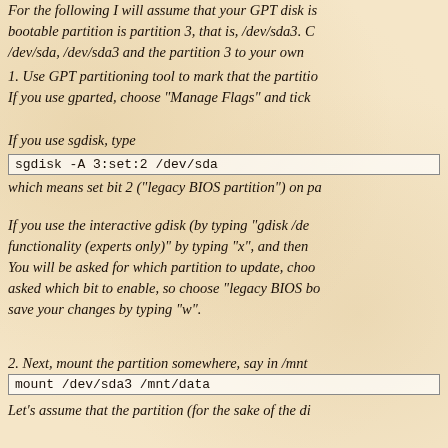For the following I will assume that your GPT disk is /dev/sda, the bootable partition is partition 3, that is, /dev/sda3. Change /dev/sda, /dev/sda3 and the partition 3 to your own values.
1. Use GPT partitioning tool to mark that the partition is bootable. If you use gparted, choose "Manage Flags" and tick "bios_grub".
If you use sgdisk, type
sgdisk -A 3:set:2 /dev/sda
which means set bit 2 ("legacy BIOS partition") on partition 3 of /dev/sda.
If you use the interactive gdisk (by typing "gdisk /dev/sda"), access "expert functionality (experts only)" by typing "x", and then type "a" to set attributes. You will be asked for which partition to update, choose 3. You will then be asked which bit to enable, so choose "legacy BIOS bootable" (bit 2). Finally, save your changes by typing "w".
2. Next, mount the partition somewhere, say in /mnt/data:
mount /dev/sda3 /mnt/data
Let's assume that the partition (for the sake of the di...